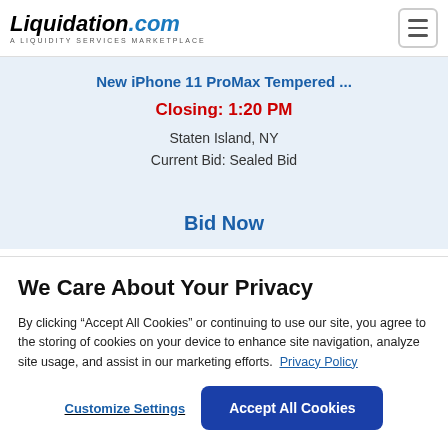Liquidation.com — A LIQUIDITY SERVICES MARKETPLACE
New iPhone 11 ProMax Tempered ...
Closing: 1:20 PM
Staten Island, NY
Current Bid: Sealed Bid
Bid Now
We Care About Your Privacy
By clicking “Accept All Cookies” or continuing to use our site, you agree to the storing of cookies on your device to enhance site navigation, analyze site usage, and assist in our marketing efforts. Privacy Policy
Customize Settings
Accept All Cookies